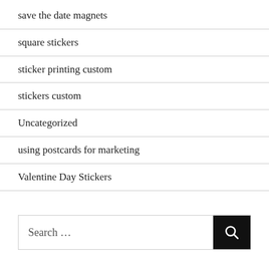save the date magnets
square stickers
sticker printing custom
stickers custom
Uncategorized
using postcards for marketing
Valentine Day Stickers
Search …